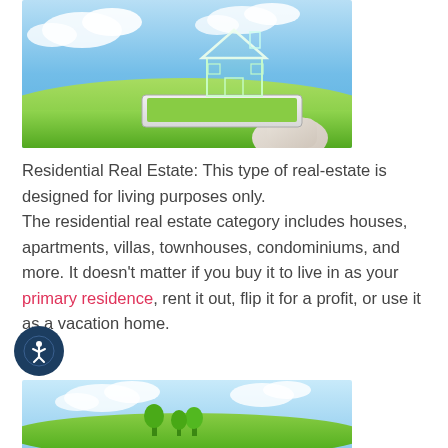[Figure (photo): A hand holding a tablet device with a glowing wireframe house above it, set against a blue sky and green grass background.]
Residential Real Estate: This type of real-estate is designed for living purposes only.
The residential real estate category includes houses, apartments, villas, townhouses, condominiums, and more. It doesn't matter if you buy it to live in as your primary residence, rent it out, flip it for a profit, or use it as a vacation home.
[Figure (photo): Partial view of a second real estate photo showing blue sky and green landscape, cropped at the bottom of the page.]